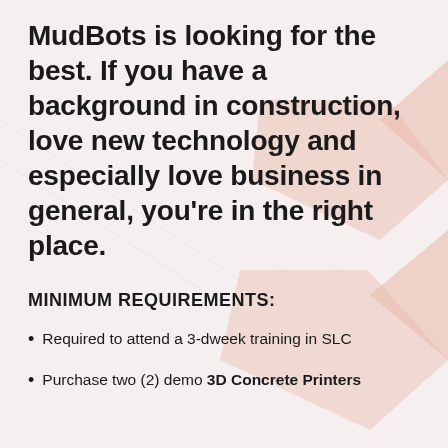MudBots is looking for the best. If you have a background in construction, love new technology and especially love business in general, you're in the right place.
MINIMUM REQUIREMENTS:
Required to attend a 3-dweek training in SLC
Purchase two (2) demo 3D Concrete Printers